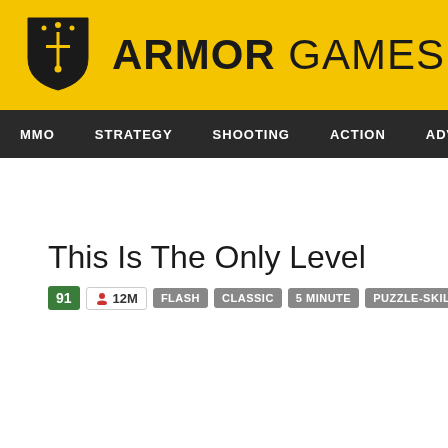[Figure (logo): Armor Games logo with yellow background, shield icon, and bold text 'ARMOR GAMES']
MMO  STRATEGY  SHOOTING  ACTION  ADVENTURE  P
This Is The Only Level
91  12M  FLASH  CLASSIC  5 MINUTE  PUZZLE-SKILL  SPEEDRUN